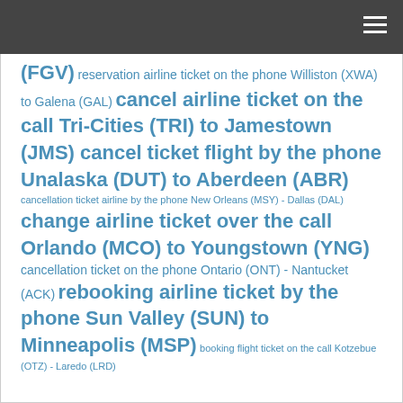(FGV) reservation airline ticket on the phone Williston (XWA) to Galena (GAL) cancel airline ticket on the call Tri-Cities (TRI) to Jamestown (JMS) cancel ticket flight by the phone Unalaska (DUT) to Aberdeen (ABR) cancellation ticket airline by the phone New Orleans (MSY) - Dallas (DAL) change airline ticket over the call Orlando (MCO) to Youngstown (YNG) cancellation ticket on the phone Ontario (ONT) - Nantucket (ACK) rebooking airline ticket by the phone Sun Valley (SUN) to Minneapolis (MSP) booking flight ticket on the call Kotzebue (OTZ) - Laredo (LRD)